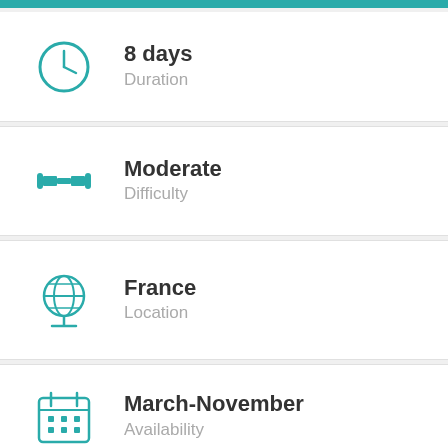[Figure (infographic): Teal header bar at top of page]
8 days
Duration
Moderate
Difficulty
France
Location
March-November
Availability